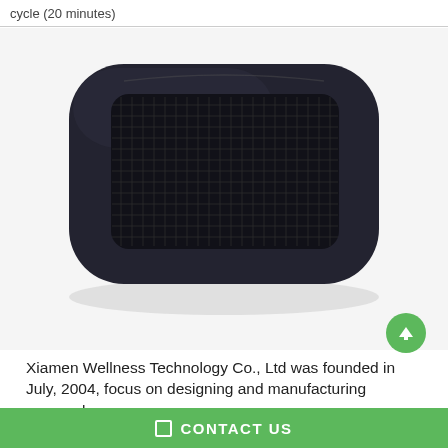cycle (20 minutes)
[Figure (photo): A black rectangular massage cushion/pillow device with rounded corners, featuring a dark mesh grid surface, viewed from above on a white background.]
Xiamen Wellness Technology Co., Ltd was founded in July, 2004, focus on designing and manufacturing personal care products and for its own customers.
CONTACT US